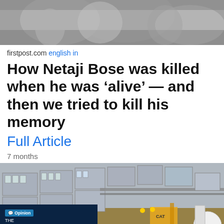[Figure (photo): Black and white photograph of people, appears historical, partially visible at top of page]
firstpost.com english in
How Netaji Bose was killed when he was ‘alive’ — and then we tried to kill his memory
Full Article
7 months
[Figure (photo): Aerial view of construction site with modular/prefab buildings being assembled, construction equipment including a CAT excavator and cement mixer visible. Overlay badge in bottom-left reads: THE CORONAVIRUS PANDEMIC, Opinion, South China Morning Post]